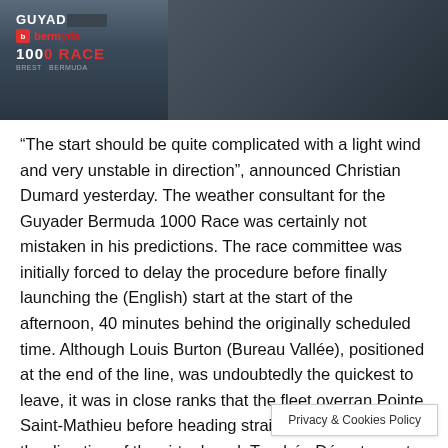[Figure (photo): A man photographed from the shoulders up, dark clothing, with a race logo overlay in the top-left corner reading 'GUYADER Bermuda 1000 RACE']
“The start should be quite complicated with a light wind and very unstable in direction”, announced Christian Dumard yesterday. The weather consultant for the Guyader Bermuda 1000 Race was certainly not mistaken in his predictions. The race committee was initially forced to delay the procedure before finally launching the (English) start at the start of the afternoon, 40 minutes behind the originally scheduled time. Although Louis Burton (Bureau Vallée), positioned at the end of the line, was undoubtedly the quickest to leave, it was in close ranks that the fleet overran Pointe Saint-Mathieu before heading straight for the broad, in the direction of the virtual mark Trophée Département Finistère, located 100 miles to the west.
Privacy & Cookies Policy